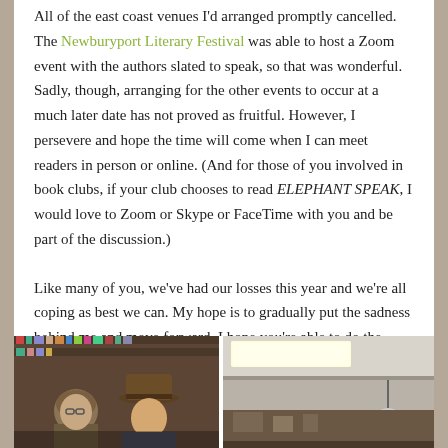All of the east coast venues I'd arranged promptly cancelled. The Newburyport Literary Festival was able to host a Zoom event with the authors slated to speak, so that was wonderful. Sadly, though, arranging for the other events to occur at a much later date has not proved as fruitful. However, I persevere and hope the time will come when I can meet readers in person or online. (And for those of you involved in book clubs, if your club chooses to read ELEPHANT SPEAK, I would love to Zoom or Skype or FaceTime with you and be part of the discussion.)
Like many of you, we've had our losses this year and we're all coping as best we can. My hope is to gradually put the sadness behind me and move forward. I hope you're able to do the same.
[Figure (photo): Two photos side by side: left shows two people (a woman with glasses and a man with a hat) in a bookstore setting; right shows an interior ceiling with fluorescent lighting.]